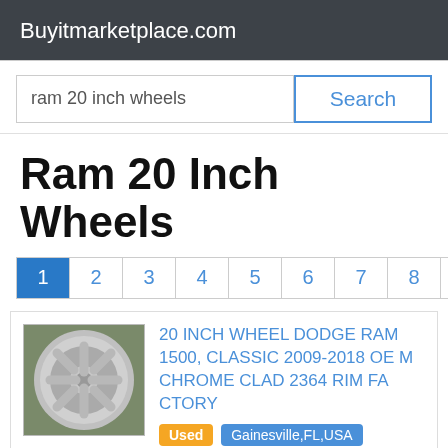Buyitmarketplace.com
ram 20 inch wheels
Search
Ram 20 Inch Wheels
1 2 3 4 5 6 7 8 9 10
[Figure (photo): Silver alloy wheel rim photographed on grass]
20 INCH WHEEL DODGE RAM 1500, CLASSIC 2009-2018 OE M CHROME CLAD 2364 RIM FA CTORY
Used  Gainesville,FL,USA  Wheels
Ebay.com